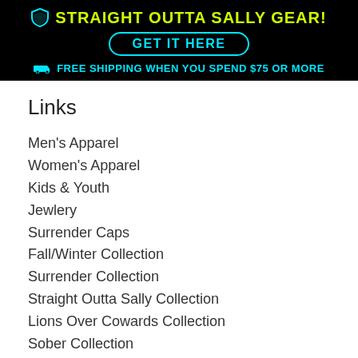STRAIGHT OUTTA SALLY GEAR! GET IT HERE FREE shipping when you spend $75 or more
Links
Men's Apparel
Women's Apparel
Kids & Youth
Jewlery
Surrender Caps
Fall/Winter Collection
Surrender Collection
Straight Outta Sally Collection
Lions Over Cowards Collection
Sober Collection
Bags and Packs
Surrender Mugs